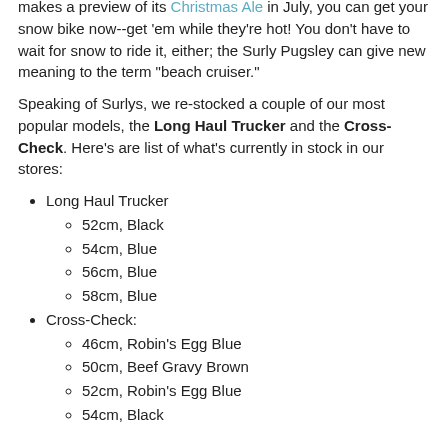makes a preview of its Christmas Ale in July, you can get your snow bike now--get 'em while they're hot! You don't have to wait for snow to ride it, either; the Surly Pugsley can give new meaning to the term "beach cruiser."
Speaking of Surlys, we re-stocked a couple of our most popular models, the Long Haul Trucker and the Cross-Check. Here's are list of what's currently in stock in our stores:
Long Haul Trucker
52cm, Black
54cm, Blue
56cm, Blue
58cm, Blue
Cross-Check:
46cm, Robin's Egg Blue
50cm, Beef Gravy Brown
52cm, Robin's Egg Blue
54cm, Black